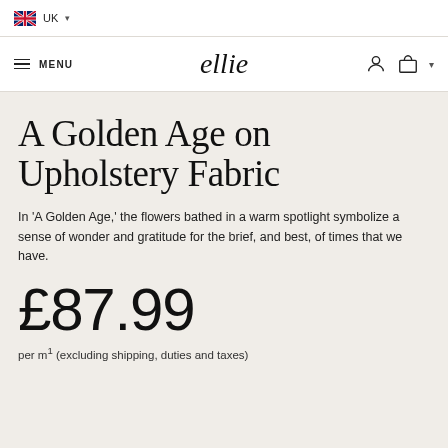UK
≡ MENU   ellie
A Golden Age on Upholstery Fabric
In 'A Golden Age,' the flowers bathed in a warm spotlight symbolize a sense of wonder and gratitude for the brief, and best, of times that we have.
£87.99
per m¹ (excluding shipping, duties and taxes)